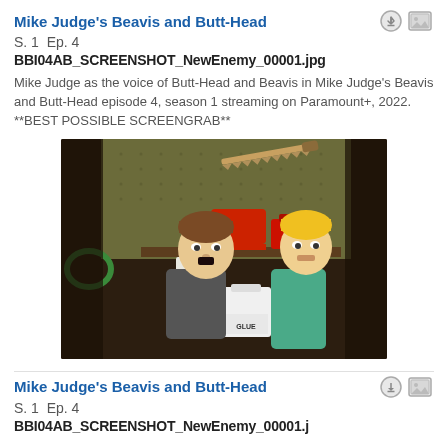Mike Judge's Beavis and Butt-Head
S. 1  Ep. 4
BBI04AB_SCREENSHOT_NewEnemy_00001.jpg
Mike Judge as the voice of Butt-Head and Beavis in Mike Judge's Beavis and Butt-Head episode 4, season 1 streaming on Paramount+, 2022. **BEST POSSIBLE SCREENGRAB**
[Figure (screenshot): Animated screenshot from Mike Judge's Beavis and Butt-Head showing two animated characters facing each other in a garage/workshop setting with tools on a pegboard wall, a chainsaw, red gas can, and a large white container labeled GLUE.]
Mike Judge's Beavis and Butt-Head
S. 1  Ep. 4
BBI04AB_SCREENSHOT_NewEnemy_00001.jpg (partial)